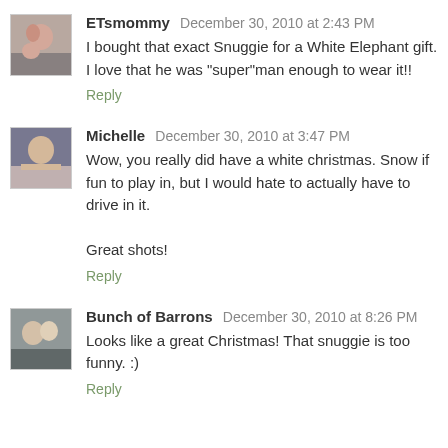[Figure (photo): Avatar photo of ETsmommy - appears to show a woman with a child]
ETsmommy December 30, 2010 at 2:43 PM
I bought that exact Snuggie for a White Elephant gift. I love that he was "super"man enough to wear it!!
Reply
[Figure (photo): Avatar photo of Michelle - appears to show a woman]
Michelle December 30, 2010 at 3:47 PM
Wow, you really did have a white christmas. Snow if fun to play in, but I would hate to actually have to drive in it.

Great shots!
Reply
[Figure (photo): Avatar photo of Bunch of Barrons - appears to show two people]
Bunch of Barrons December 30, 2010 at 8:26 PM
Looks like a great Christmas! That snuggie is too funny. :)
Reply